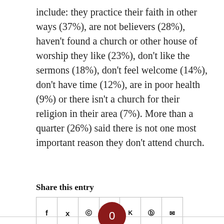include: they practice their faith in other ways (37%), are not believers (28%), haven't found a church or other house of worship they like (23%), don't like the sermons (18%), don't feel welcome (14%), don't have time (12%), are in poor health (9%) or there isn't a church for their religion in their area (7%). More than a quarter (26%) said there is not one most important reason they don't attend church.
Share this entry
[Figure (other): Social sharing icons row: Facebook (f), Twitter (bird), WhatsApp, Pinterest (Pint), VK, Reddit, Email]